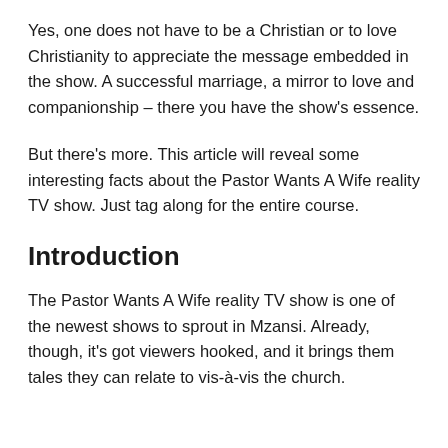Yes, one does not have to be a Christian or to love Christianity to appreciate the message embedded in the show. A successful marriage, a mirror to love and companionship – there you have the show's essence.
But there's more. This article will reveal some interesting facts about the Pastor Wants A Wife reality TV show. Just tag along for the entire course.
Introduction
The Pastor Wants A Wife reality TV show is one of the newest shows to sprout in Mzansi. Already, though, it's got viewers hooked, and it brings them tales they can relate to vis-à-vis the church.